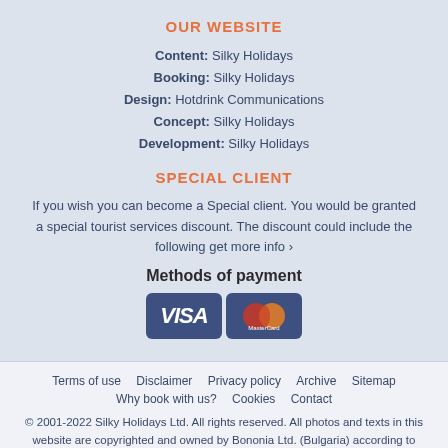OUR WEBSITE
Content: Silky Holidays
Booking: Silky Holidays
Design: Hotdrink Communications
Concept: Silky Holidays
Development: Silky Holidays
SPECIAL CLIENT
If you wish you can become a Special client. You would be granted a special tourist services discount. The discount could include the following get more info ›
Methods of payment
[Figure (other): Payment method icons: VISA and MasterCard logos on dark blue rounded rectangle backgrounds]
Terms of use   Disclaimer   Privacy policy   Archive   Sitemap
Why book with us?   Cookies   Contact
© 2001-2022 Silky Holidays Ltd. All rights reserved. All photos and texts in this website are copyrighted and owned by Bononia Ltd. (Bulgaria) according to the Bulgarian Copyright Legislation. Any unauthorised use will be immediately prosecuted by our lawyers and legal action will be taken in a Bulgarian Court.